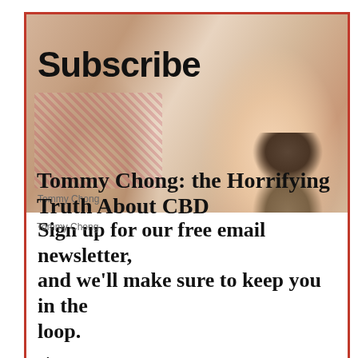[Figure (screenshot): Subscribe popup overlay with photo of two people (older man and blonde woman), showing 'Subscribe' title and newsletter signup text with 'First Name' field. Overlapping ad text 'Tommy Chong: the Horrifying Truth About CBD' and 'Tommy Chong' caption visible. 'Promoted X' bar with search input below.]
[Figure (photo): Close-up photo of a mouth/tongue with a small teal/blue pill, with a video play button overlay circle]
4 Worst Blood Pressure Drugs (Avoid At All Costs)
🔥 62,339
[Figure (photo): Photo of an elderly person sitting on a bed, hunched over, in a dark room]
How Your Body Warns You That Dementia Is Forming
🔥 43,404